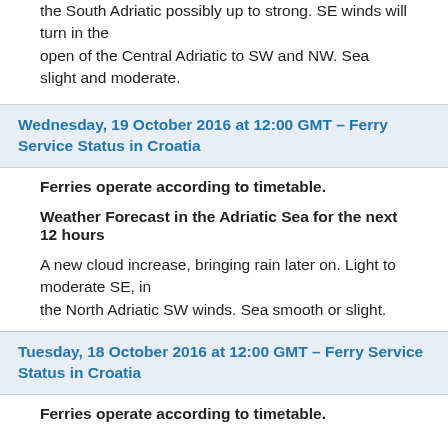the South Adriatic possibly up to strong. SE winds will turn in the open of the Central Adriatic to SW and NW. Sea slight and moderate.
Wednesday, 19 October 2016 at 12:00 GMT – Ferry Service Status in Croatia
Ferries operate according to timetable.
Weather Forecast in the Adriatic Sea for the next 12 hours
A new cloud increase, bringing rain later on. Light to moderate SE, in the North Adriatic SW winds. Sea smooth or slight.
Tuesday, 18 October 2016 at 12:00 GMT – Ferry Service Status in Croatia
Ferries operate according to timetable.